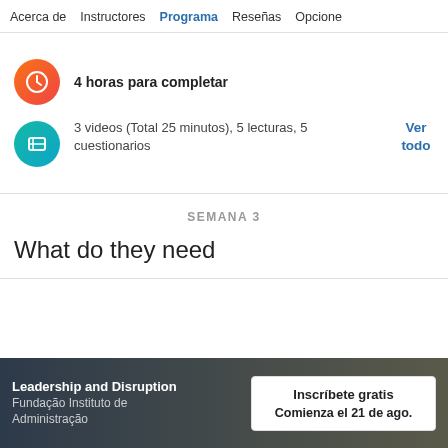Acerca de   Instructores   Programa   Reseñas   Opcione
4 horas para completar
3 videos (Total 25 minutos), 5 lecturas, 5 cuestionarios
Ver todo
SEMANA 3
What do they need
Leadership and Disruption
Fundação Instituto de Administração
Inscríbete gratis
Comienza el 21 de ago.